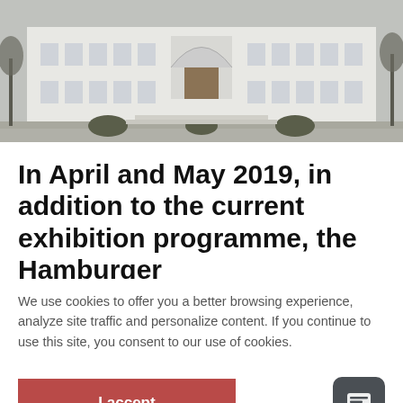[Figure (photo): Exterior photo of a large neoclassical white building (the Hamburger Kunsthalle), winter, bare trees visible on sides, manicured hedges in front courtyard.]
In April and May 2019, in addition to the current exhibition programme, the Hamburger
We use cookies to offer you a better browsing experience, analyze site traffic and personalize content. If you continue to use this site, you consent to our use of cookies.
I accept